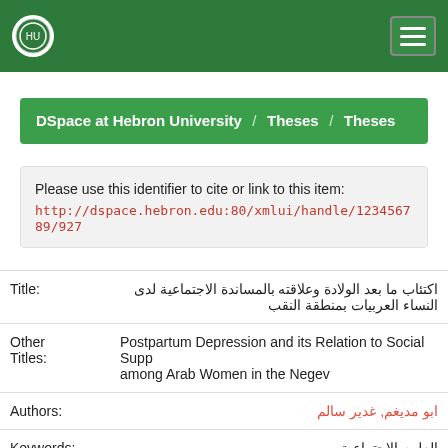DSpace at Hebron University / Theses / Theses
Please use this identifier to cite or link to this item:
http://dspace.hebron.edu:80/xmlui/handle/123456789/927
| Field | Value |
| --- | --- |
| Title: | اكتئاب ما بعد الولادة وعلاقته بالمساندة الاجتماعية لدى النساء العربيات بمنطقة النقب |
| Other Titles: | Postpartum Depression and its Relation to Social Support among Arab Women in the Negev |
| Authors: | ابو مديغم, غدير سالم |
| Keywords: | العلوم الاجتماعية
اكتئاب ما بعد الولادة |